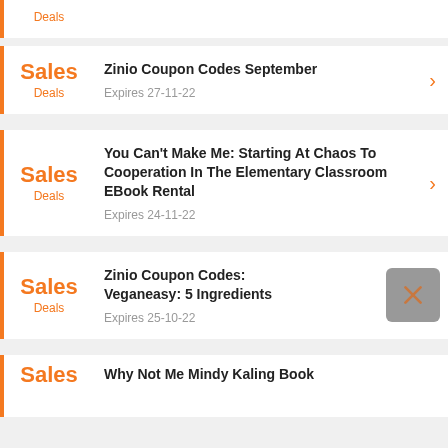Deals (partial top card)
Sales / Deals — Zinio Coupon Codes September — Expires 27-11-22
Sales / Deals — You Can't Make Me: Starting At Chaos To Cooperation In The Elementary Classroom EBook Rental — Expires 24-11-22
Sales / Deals — Zinio Coupon Codes: Veganeasy: 5 Ingredients — Expires 25-10-22
Sales (partial bottom card) — Why Not Me Mindy Kaling Book